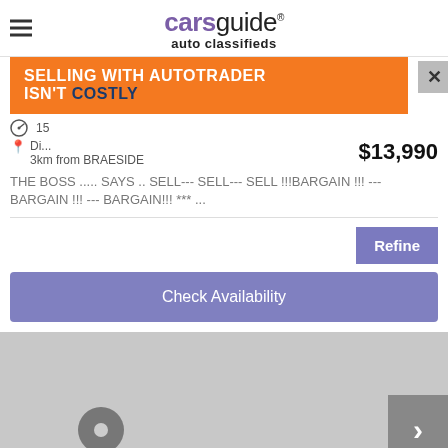carsguide® auto classifieds
[Figure (screenshot): Car listing card with advertisement banner overlay. Shows speed icon with '15', location pin with 'Di...' and '3km from BRAESIDE', price '$13,990', description text 'THE BOSS ... SAYS .. SELL--- SELL--- SELL !!!BARGAIN !!! --- BARGAIN !!! --- BARGAIN!!! *** ...', Refine button, Check Availability button. Orange ad banner: 'SELLING WITH AUTOTRADER ISN'T COSTLY' with close X button.]
[Figure (photo): Grey placeholder image area for car photo with a circular play button icon and a right arrow navigation button on the right side.]